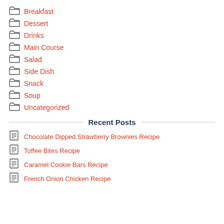Breakfast
Dessert
Drinks
Main Course
Salad
Side Dish
Snack
Soup
Uncategorized
Recent Posts
Chocolate Dipped Strawberry Brownies Recipe
Toffee Bites Recipe
Caramel Cookie Bars Recipe
French Onion Chicken Recipe